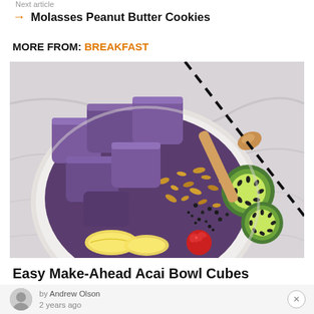Next article
→ Molasses Peanut Butter Cookies
MORE FROM: BREAKFAST
[Figure (photo): Overhead view of an acai bowl with frozen acai cubes, granola, chia seeds, kiwi slices, banana slices, and a raspberry in a white bowl on a marble surface, with a wooden spoon and dashed straw visible.]
Easy Make-Ahead Acai Bowl Cubes
by Andrew Olson
2 years ago